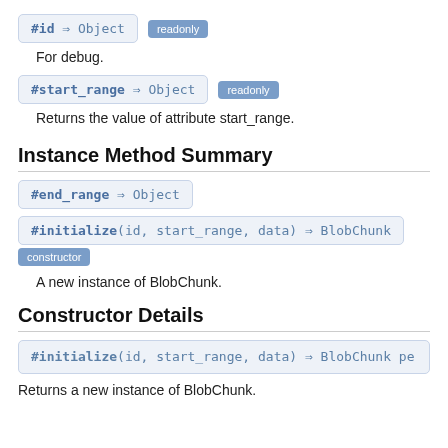#id ⇒ Object  readonly
For debug.
#start_range ⇒ Object  readonly
Returns the value of attribute start_range.
Instance Method Summary
#end_range ⇒ Object
#initialize(id, start_range, data) ⇒ BlobChunk  constructor
A new instance of BlobChunk.
Constructor Details
#initialize(id, start_range, data) ⇒ BlobChunk pe
Returns a new instance of BlobChunk.